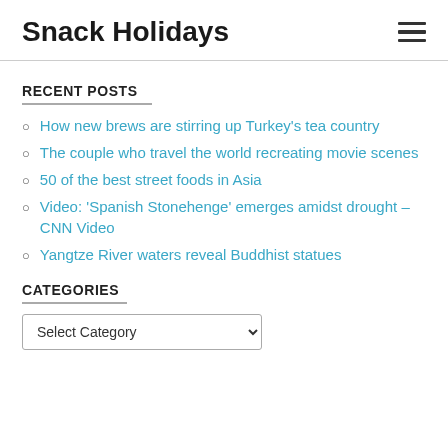Snack Holidays
RECENT POSTS
How new brews are stirring up Turkey's tea country
The couple who travel the world recreating movie scenes
50 of the best street foods in Asia
Video: 'Spanish Stonehenge' emerges amidst drought – CNN Video
Yangtze River waters reveal Buddhist statues
CATEGORIES
Select Category